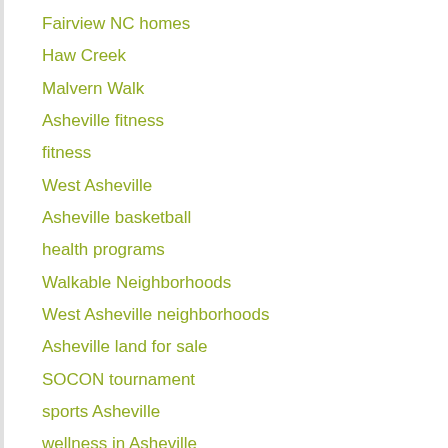Fairview NC homes
Haw Creek
Malvern Walk
Asheville fitness
fitness
West Asheville
Asheville basketball
health programs
Walkable Neighborhoods
West Asheville neighborhoods
Asheville land for sale
SOCON tournament
sports Asheville
wellness in Asheville
Asheville lots for sale
Asheville NC lots
SOCON tournament Asheville
volunteer opportunities